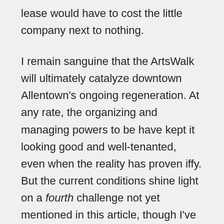lease would have to cost the little company next to nothing.
I remain sanguine that the ArtsWalk will ultimately catalyze downtown Allentown's ongoing regeneration. At any rate, the organizing and managing powers to be have kept it looking good and well-tenanted, even when the reality has proven iffy. But the current conditions shine light on a fourth challenge not yet mentioned in this article, though I've discussed it ad nauseam elsewhere in this blog. How much longer can bricks-and-mortar retail remain viable anywhere? If anything, the ArtsWalk will need to attract restaurants, salons, and other small